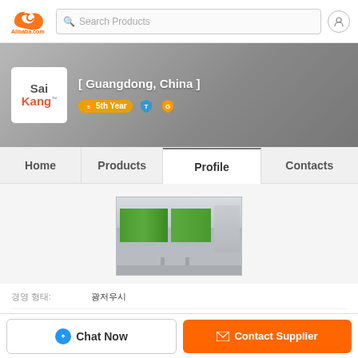[Figure (screenshot): Alibaba.com header with logo, search bar, and user icon]
[Figure (screenshot): Sai Kang company banner on Alibaba showing location Guangdong China and 5th Year badge]
[ Guangdong, China ]
5th Year
Home | Products | Profile | Contacts
[Figure (photo): Exterior photo of Sai Kang company building/factory]
| Field | Value |
| --- | --- |
| 경영 형태: | 광저우시 |
| 설립 연도: | 2009 |
| 주요 시장: | 아시 태평, 동남아시아, 남아메리카, 북유럽, 동아시아 |
Chat Now
Contact Supplier